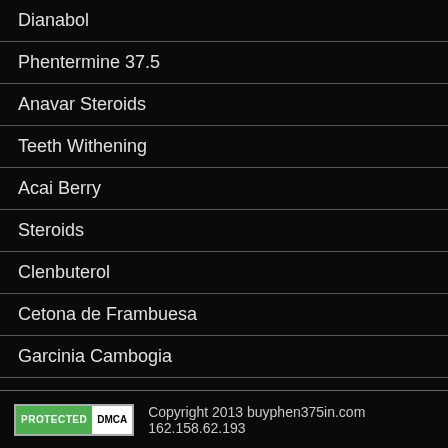Dianabol
Phentermine 37.5
Anavar Steroids
Teeth Withening
Acai Berry
Steroids
Clenbuterol
Cetona de Frambuesa
Garcinia Cambogia
Esteroides
Copyright 2013 buyphen375in.com 162.158.62.193